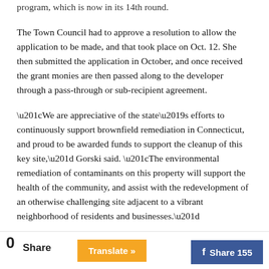program, which is now in its 14th round.
The Town Council had to approve a resolution to allow the application to be made, and that took place on Oct. 12. She then submitted the application in October, and once received the grant monies are then passed along to the developer through a pass-through or sub-recipient agreement.
“We are appreciative of the state’s efforts to continuously support brownfield remediation in Connecticut, and proud to be awarded funds to support the cleanup of this key site,” Gorski said. “The environmental remediation of contaminants on this property will support the health of the community, and assist with the redevelopment of an otherwise challenging site adjacent to a vibrant neighborhood of residents and businesses.”
Share  0  Translate »  Share 155